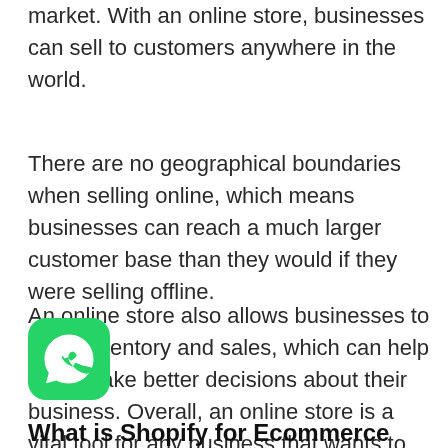market. With an online store, businesses can sell to customers anywhere in the world.
There are no geographical boundaries when selling online, which means businesses can reach a much larger customer base than they would if they were selling offline.
An online store also allows businesses to track inventory and sales, which can help them make better decisions about their business. Overall, an online store is a vital tool for any business that wants to sell products and services.
[Figure (logo): WhatsApp logo icon — green circle with white phone handset]
What is Shopify for Ecommerce